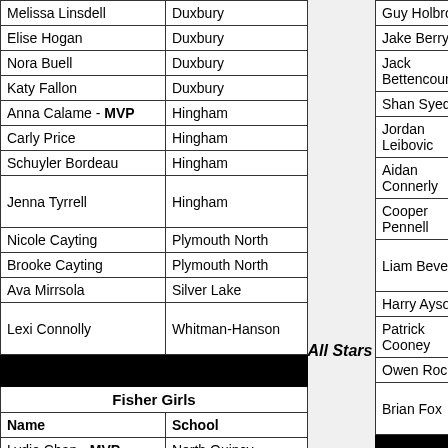| Name | School |
| --- | --- |
| Melissa Linsdell | Duxbury |
| Elise Hogan | Duxbury |
| Nora Buell | Duxbury |
| Katy Fallon | Duxbury |
| Anna Calame - MVP | Hingham |
| Carly Price | Hingham |
| Schuyler Bordeau | Hingham |
| Jenna Tyrrell | Hingham |
| Nicole Cayting | Plymouth North |
| Brooke Cayting | Plymouth North |
| Ava Mirrsola | Silver Lake |
| Lexi Connolly | Whitman-Hanson |
All Stars
| Fisher Girls |
| --- |
| Name | School |
| Lydia Chan - MVP | North Quincy |
| Name |
| --- |
| Guy Holbrook- |
| Jake Berry |
| Jack Bettencour |
| Shan Syed |
| Jordan Leibovic |
| Aidan Connerly |
| Cooper Pennell |
| Liam Bevens |
| Harry Ayson |
| Patrick Cooney |
| Owen Roche |
| Brian Fox |
| Nick Ginter |